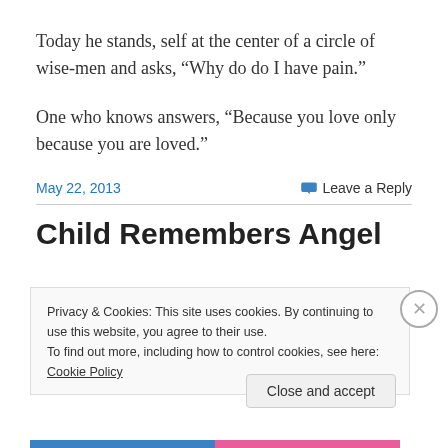Today he stands, self at the center of a circle of wise-men and asks, “Why do do I have pain.”
One who knows answers, “Because you love only because you are loved.”
May 22, 2013
Leave a Reply
Child Remembers Angel
Privacy & Cookies: This site uses cookies. By continuing to use this website, you agree to their use.
To find out more, including how to control cookies, see here: Cookie Policy
Close and accept